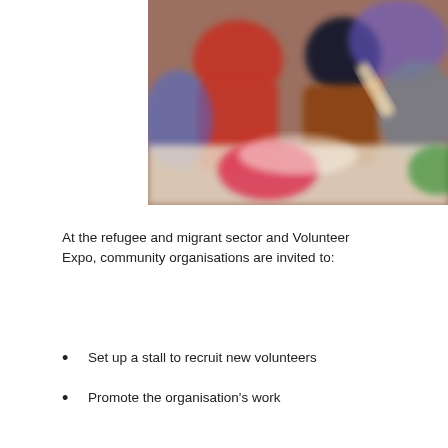[Figure (photo): A blurred photo showing people in red shirts engaged in an activity, appearing to be volunteers working together at a table.]
At the refugee and migrant sector and Volunteer Expo, community organisations are invited to:
Set up a stall to recruit new volunteers
Promote the organisation's work